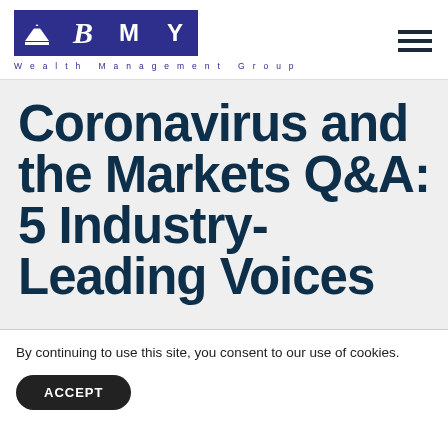[Figure (logo): BMY Wealth Management Group logo with purple squares containing triangle icon, B, M, Y letters and subtitle text]
Coronavirus and the Markets Q&A: 5 Industry-Leading Voices
By continuing to use this site, you consent to our use of cookies.